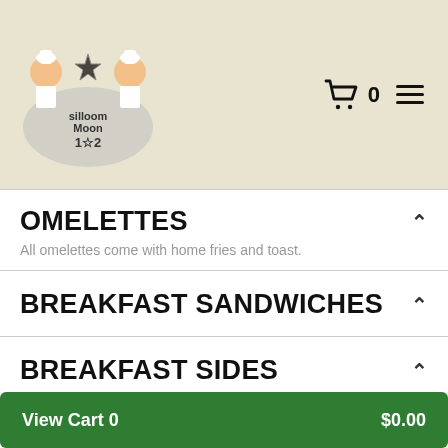Restaurant menu header with logo and cart icon showing 0 items
OMELETTES
All omelettes come with home fries and toast.
BREAKFAST SANDWICHES
BREAKFAST SIDES
APPETIZERS
View Cart 0   $0.00